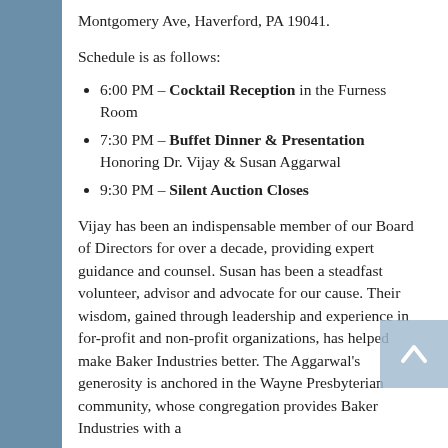Montgomery Ave, Haverford, PA 19041.
Schedule is as follows:
6:00 PM – Cocktail Reception in the Furness Room
7:30 PM – Buffet Dinner & Presentation Honoring Dr. Vijay & Susan Aggarwal
9:30 PM – Silent Auction Closes
Vijay has been an indispensable member of our Board of Directors for over a decade, providing expert guidance and counsel. Susan has been a steadfast volunteer, advisor and advocate for our cause. Their wisdom, gained through leadership and experience in for-profit and non-profit organizations, has helped make Baker Industries better. The Aggarwal's generosity is anchored in the Wayne Presbyterian community, whose congregation provides Baker Industries with a